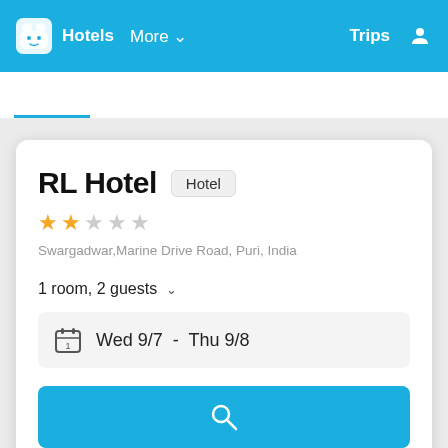Hotels  More  Trips
RL Hotel  Hotel
★★☆☆☆
Swargadwar,Marine Drive Road, Puri, India
1 room, 2 guests
Wed 9/7  -  Thu 9/8
[Figure (other): Search button with magnifying glass icon]